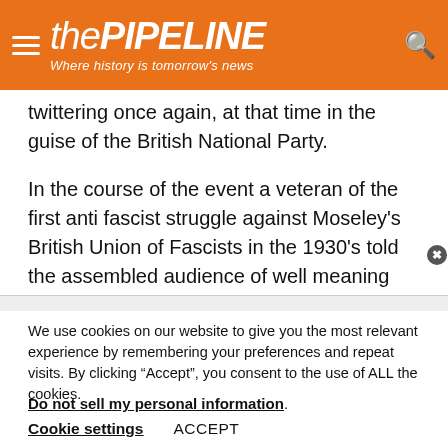thePIPELINE — Where history is tomorrow's news
twittering once again, at that time in the guise of the British National Party.
In the course of the event a veteran of the first anti fascist struggle against Moseley's British Union of Fascists in the 1930's told the assembled audience of well meaning local activists and politicians that in his experience,
We use cookies on our website to give you the most relevant experience by remembering your preferences and repeat visits. By clicking “Accept”, you consent to the use of ALL the cookies.
Do not sell my personal information.
Cookie settings   ACCEPT